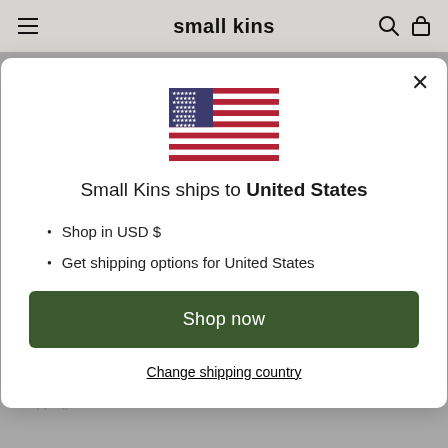small kins
[Figure (illustration): US flag emoji/illustration centered in modal]
Small Kins ships to United States
Shop in USD $
Get shipping options for United States
Shop now
Change shipping country
Contact Us
Shipping & Returns